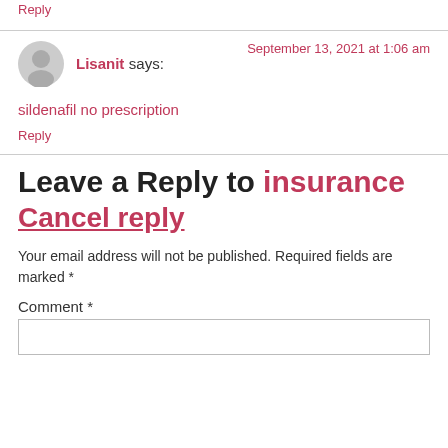Reply
Lisanit says:
September 13, 2021 at 1:06 am
sildenafil no prescription
Reply
Leave a Reply to insurance Cancel reply
Your email address will not be published. Required fields are marked *
Comment *